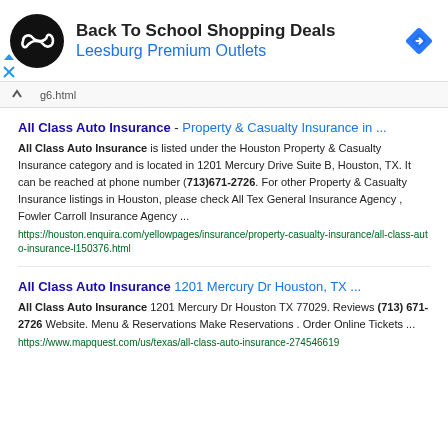[Figure (screenshot): Ad banner with circular black logo with infinity-like symbol, 'Back To School Shopping Deals' title, 'Leesburg Premium Outlets' subtitle in blue, and blue diamond navigation icon on the right]
g6.html
All Class Auto Insurance - Property & Casualty Insurance in ...
All Class Auto Insurance is listed under the Houston Property & Casualty Insurance category and is located in 1201 Mercury Drive Suite B, Houston, TX. It can be reached at phone number (713)671-2726. For other Property & Casualty Insurance listings in Houston, please check All Tex General Insurance Agency , Fowler Carroll Insurance Agency ...
https://houston.enquira.com/yellowpages/insurance/property-casualty-insurance/all-class-auto-insurance-l150376.html
All Class Auto Insurance 1201 Mercury Dr Houston, TX ...
All Class Auto Insurance 1201 Mercury Dr Houston TX 77029. Reviews (713) 671-2726 Website. Menu & Reservations Make Reservations . Order Online Tickets ...
https://www.mapquest.com/us/texas/all-class-auto-insurance-274546619